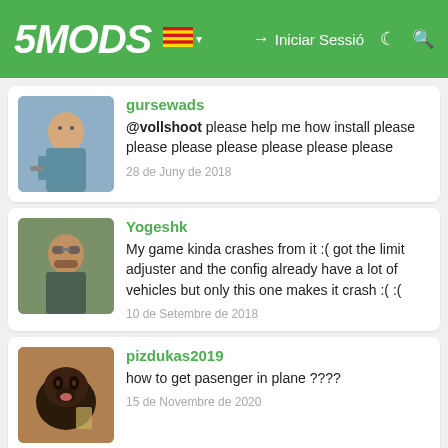5MODS — Iniciar Sessió
gursewads
@vollshoot please help me how install please please please please please please please
28 de Juny de 2018
Yogeshk
My game kinda crashes from it :( got the limit adjuster and the config already have a lot of vehicles but only this one makes it crash :( :(
10 de Setembre de 2018
pizdukas2019
how to get pasenger in plane ????
15 de Novembre de 2020
Mangitemasiap
@AlfianHazmi org indo kah?